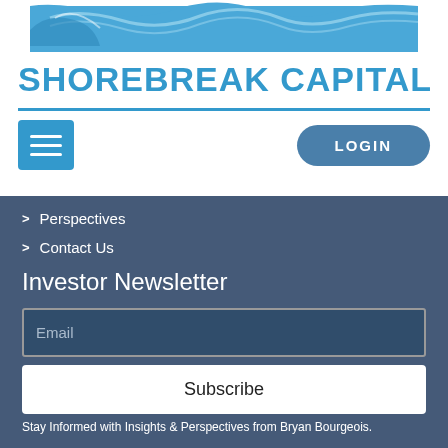[Figure (logo): Shorebreak Capital wave/banner logo at the top of the page]
SHOREBREAK CAPITAL
[Figure (other): Hamburger menu button (three horizontal lines) in blue square]
[Figure (other): LOGIN pill-shaped button in steel blue]
Perspectives
Contact Us
Investor Newsletter
Email
Subscribe
Stay Informed with Insights & Perspectives from Bryan Bourgeois.